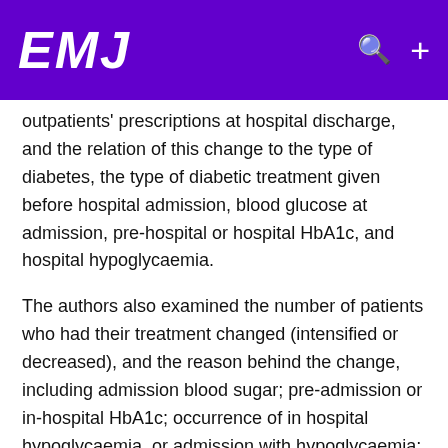EMJ
outpatients' prescriptions at hospital discharge, and the relation of this change to the type of diabetes, the type of diabetic treatment given before hospital admission, blood glucose at admission, pre-hospital or hospital HbA1c, and hospital hypoglycaemia.
The authors also examined the number of patients who had their treatment changed (intensified or decreased), and the reason behind the change, including admission blood sugar; pre-admission or in-hospital HbA1c; occurrence of in hospital hypoglycaemia, or admission with hypoglycaemia; and no clear causes for the change.
STATISTICAL ANALYSIS